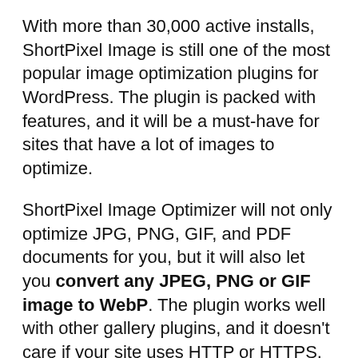With more than 30,000 active installs, ShortPixel Image is still one of the most popular image optimization plugins for WordPress. The plugin is packed with features, and it will be a must-have for sites that have a lot of images to optimize.
ShortPixel Image Optimizer will not only optimize JPG, PNG, GIF, and PDF documents for you, but it will also let you convert any JPEG, PNG or GIF image to WebP. The plugin works well with other gallery plugins, and it doesn't care if your site uses HTTP or HTTPS. It will let you remove EXIF data from images (something photographers will love to have).
The plugin recognizes images that it already optimized so it will skip them when needed. You get to allow or disallow auto-optimization, and do much, much more with this fantastic plugin. Check out the